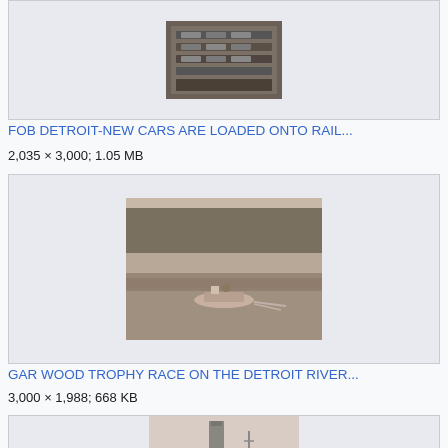[Figure (photo): Cars loaded onto rail cars, top portion cropped]
FOB DETROIT-NEW CARS ARE LOADED ONTO RAIL...
2,035 × 3,000; 1.05 MB
[Figure (photo): Boat race on Detroit River, vintage photograph, boat on water with trees and crowd in background]
GAR WOOD TROPHY RACE ON THE DETROIT RIVER...
3,000 × 1,988; 668 KB
[Figure (photo): Industrial scene with chimney/smokestack, vintage photograph]